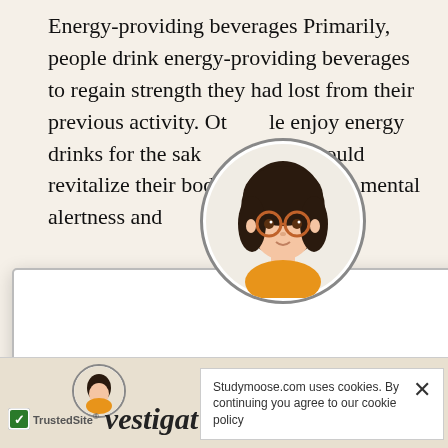Energy-providing beverages Primarily, people drink energy-providing beverages to regain strength they had lost from their previous activity. Others enjoy energy drinks for the sake that drinks could revitalize their bodies and improve mental alertness and these drinks nts and ve as gy drinks at it may
[Figure (illustration): Cartoon avatar of a young woman with dark hair, orange-rimmed glasses, and a yellow/orange top, displayed in a circular frame]
👋 Hi! I'm your smart assistant Amy!
Don't know where to start? Type your requirements and I'll connect you to an academic expert within 3 minutes.
GET HELP WITH YOUR ASSIGNMENT
[Figure (illustration): Small circular avatar of a person at the bottom left]
vestigat
Studymoose.com uses cookies. By continuing you agree to our cookie policy